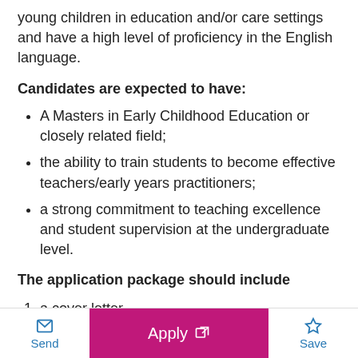young children in education and/or care settings and have a high level of proficiency in the English language.
Candidates are expected to have:
A Masters in Early Childhood Education or closely related field;
the ability to train students to become effective teachers/early years practitioners;
a strong commitment to teaching excellence and student supervision at the undergraduate level.
The application package should include
a cover letter,
a detailed resume and
names of two references with contact